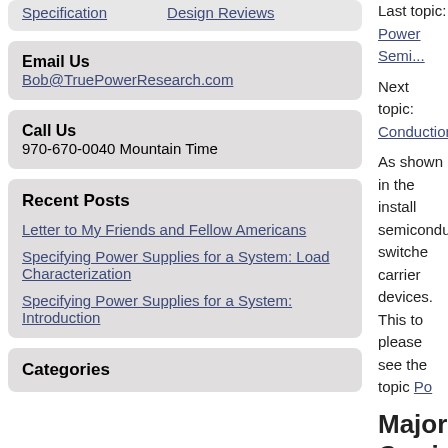Specification   Design Reviews
Email Us
Bob@TruePowerResearch.com
Call Us
970-670-0040 Mountain Time
Recent Posts
Letter to My Friends and Fellow Americans
Specifying Power Supplies for a System: Load Characterization
Specifying Power Supplies for a System: Introduction
Categories
Last topic: Power Semi...
Next topic: Conduction...
As shown in the install semiconductor switche carrier devices. This to please see the topic Po
Majority Carri...
Majority carrier device order of magnitude fas 200nS and frequently v supply with majority ca
Power Metal Oxide...
We will discuss the N- channel enhancement m
The power MOSFET k conduction state of the controlled conduction e than the device thresh...